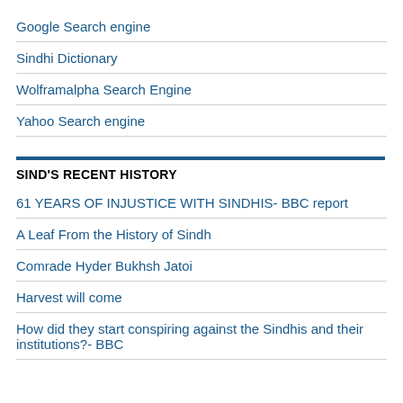Google Search engine
Sindhi Dictionary
Wolframalpha Search Engine
Yahoo Search engine
SIND'S RECENT HISTORY
61 YEARS OF INJUSTICE WITH SINDHIS- BBC report
A Leaf From the History of Sindh
Comrade Hyder Bukhsh Jatoi
Harvest will come
How did they start conspiring against the Sindhis and their institutions?- BBC